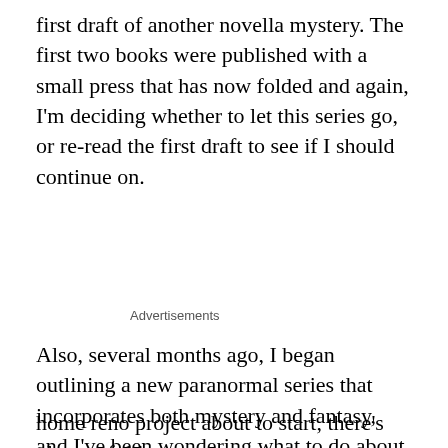first draft of another novella mystery. The first two books were published with a small press that has now folded and again, I'm deciding whether to let this series go, or re-read the first draft to see if I should continue on.
Advertisements
Also, several months ago, I began outlining a new paranormal series that incorporates both mystery and fantasy, and I've been wondering what to do about that as
Privacy & Cookies: This site uses cookies. By continuing to use this website, you agree to their use.
To find out more, including how to control cookies, see here: Cookie Policy
Close and accept
home reno project about to start, there's plenty of things to